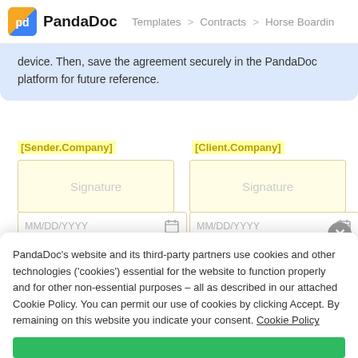PandaDoc  Templates > Contracts > Horse Boarding
device. Then, save the agreement securely in the PandaDoc platform for future reference.
[Sender.Company]
[Client.Company]
Signature
Signature
MM/DD/YYYY
MM/DD/YYYY
PandaDoc's website and its third-party partners use cookies and other technologies ('cookies') essential for the website to function properly and for other non-essential purposes – all as described in our attached Cookie Policy. You can permit our use of cookies by clicking Accept. By remaining on this website you indicate your consent. Cookie Policy